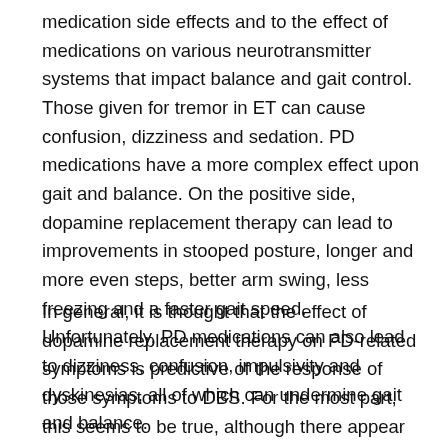medication side effects and to the effect of medications on various neurotransmitter systems that impact balance and gait control. Those given for tremor in ET can cause confusion, dizziness and sedation. PD medications have a more complex effect upon gait and balance. On the positive side, dopamine replacement therapy can lead to improvements in stooped posture, longer and more even steps, better arm swing, less freezing and a faster gait speed. Unfortunately, PD medications can also lead to dizziness, confusion, impulsivity and dyskinesias, all of which can undermine gait and balance.
In general, it is thought that the effect of dopamine replacement therapy on PD-related symptoms is predictive of the response of those symptoms to DBS. For the most part, this seems to be true, although there appear to be exceptions. For example, it is well established that individuals with PD or ET do better on di...